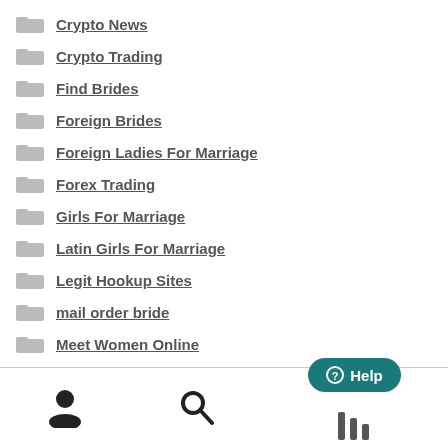Crypto News
Crypto Trading
Find Brides
Foreign Brides
Foreign Ladies For Marriage
Forex Trading
Girls For Marriage
Latin Girls For Marriage
Legit Hookup Sites
mail order bride
Meet Women Online